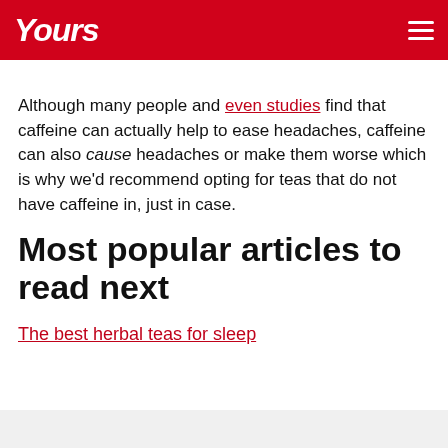Yours
Although many people and even studies find that caffeine can actually help to ease headaches, caffeine can also cause headaches or make them worse which is why we'd recommend opting for teas that do not have caffeine in, just in case.
Most popular articles to read next
The best herbal teas for sleep